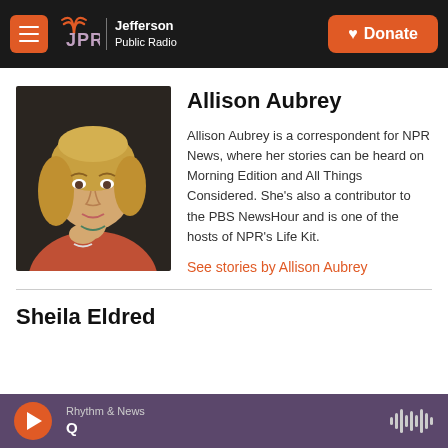JPR Jefferson Public Radio | Donate
[Figure (photo): Headshot photo of Allison Aubrey, a woman with blonde hair wearing a red top, posed with hand near chin on dark background]
Allison Aubrey
Allison Aubrey is a correspondent for NPR News, where her stories can be heard on Morning Edition and All Things Considered. She's also a contributor to the PBS NewsHour and is one of the hosts of NPR's Life Kit.
See stories by Allison Aubrey
Sheila Eldred
Rhythm & News
Q